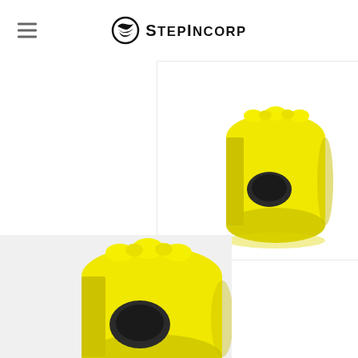StepIncorp
[Figure (photo): Yellow polyurethane sway bar bushing, single piece, top-right product image on white background]
[Figure (photo): Yellow polyurethane sway bar bushing, single piece, bottom-left product image on light gray background]